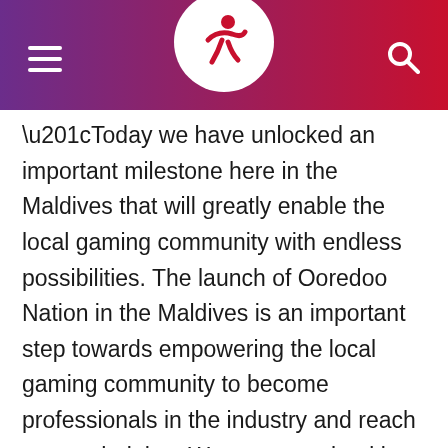[Figure (logo): Mobile app navigation header with hamburger menu on the left, a circular white logo with a stylized figure/running person icon in the center, and a search icon on the right. Background is a gradient from purple on the left to red on the right.]
“Today we have unlocked an important milestone here in the Maldives that will greatly enable the local gaming community with endless possibilities. The launch of Ooredoo Nation in the Maldives is an important step towards empowering the local gaming community to become professionals in the industry and reach greater heights. We are committed in becoming a pioneer of the industry and enable the growth of the Maldivian gaming community,” he said.